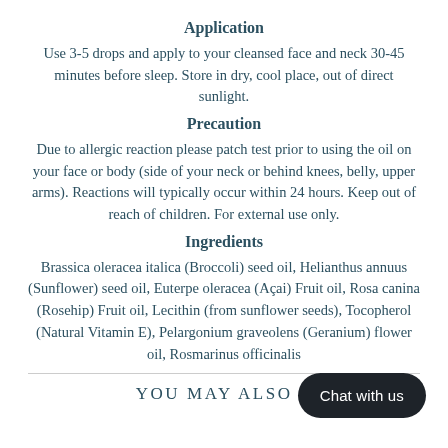Application
Use 3-5 drops and apply to your cleansed face and neck 30-45 minutes before sleep. Store in dry, cool place, out of direct sunlight.
Precaution
Due to allergic reaction please patch test prior to using the oil on your face or body (side of your neck or behind knees, belly, upper arms). Reactions will typically occur within 24 hours. Keep out of reach of children. For external use only.
Ingredients
Brassica oleracea italica (Broccoli) seed oil, Helianthus annuus (Sunflower) seed oil, Euterpe oleracea (Açai) Fruit oil, Rosa canina (Rosehip) Fruit oil, Lecithin (from sunflower seeds), Tocopherol (Natural Vitamin E), Pelargonium graveolens (Geranium) flower oil, Rosmarinus officinalis
YOU MAY ALSO L
Chat with us